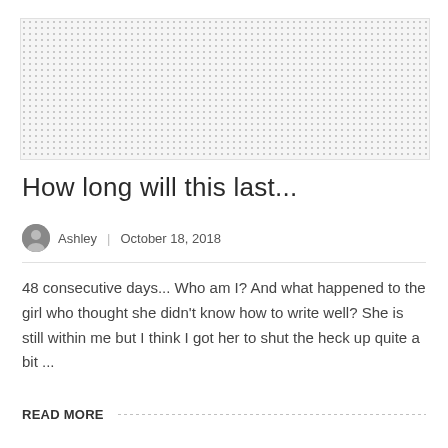[Figure (photo): Hero image placeholder with dotted/stippled gray pattern background]
How long will this last...
Ashley | October 18, 2018
48 consecutive days... Who am I? And what happened to the girl who thought she didn't know how to write well? She is still within me but I think I got her to shut the heck up quite a bit ...
READ MORE